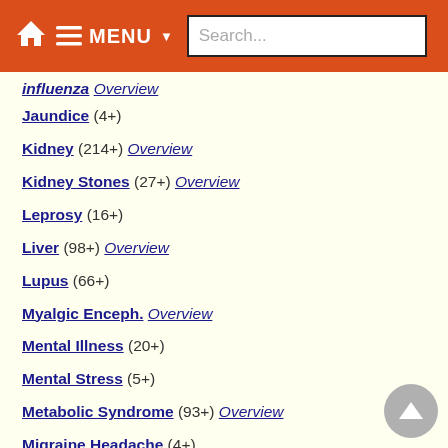MENU Search...
Influenza Overview
Jaundice (4+)
Kidney (214+) Overview
Kidney Stones (27+) Overview
Leprosy (16+)
Liver (98+) Overview
Lupus (66+)
Myalgic Enceph. Overview
Mental Illness (20+)
Mental Stress (5+)
Metabolic Syndrome (93+) Overview
Migraine Headache (4+)
Mortality (277+)